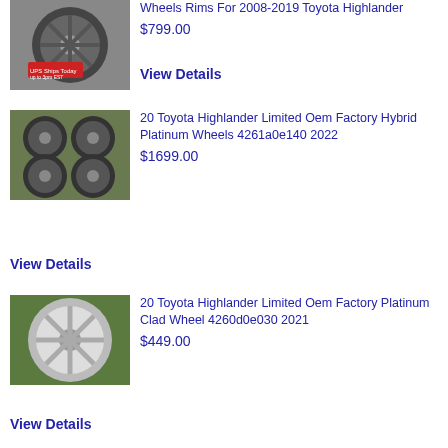[Figure (photo): Car wheel/rim product photo for Toyota Highlander]
Wheels Rims For 2008-2019 Toyota Highlander
$799.00
View Details
[Figure (photo): Set of 4 alloy wheels product photo - Toyota Highlander Hybrid Platinum]
20 Toyota Highlander Limited Oem Factory Hybrid Platinum Wheels 4261a0e140 2022
$1699.00
View Details
[Figure (photo): Single chrome alloy wheel product photo - Toyota Highlander Platinum Clad]
20 Toyota Highlander Limited Oem Factory Platinum Clad Wheel 4260d0e030 2021
$449.00
View Details
[Figure (photo): Toyota Highlander OEM factory wheels - partial view]
19 Toyota Highlander Oem Factory